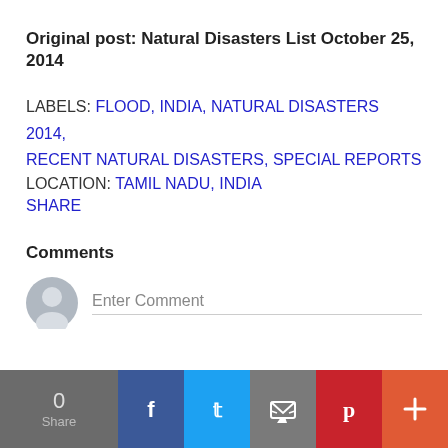Original post: Natural Disasters List October 25, 2014
LABELS: FLOOD, INDIA, NATURAL DISASTERS 2014, RECENT NATURAL DISASTERS, SPECIAL REPORTS
LOCATION: TAMIL NADU, INDIA
SHARE
Comments
Enter Comment
0 Share [Facebook] [Twitter] [Email] [Pinterest] [More]